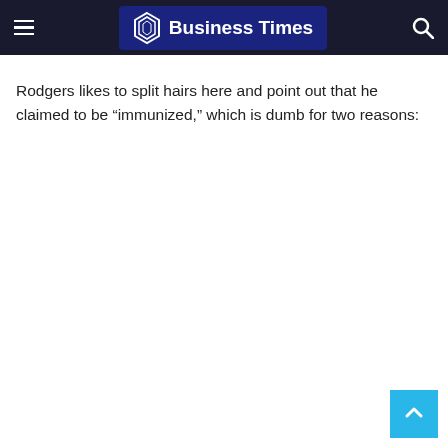Business Times
Rodgers likes to split hairs here and point out that he claimed to be “immunized,” which is dumb for two reasons: